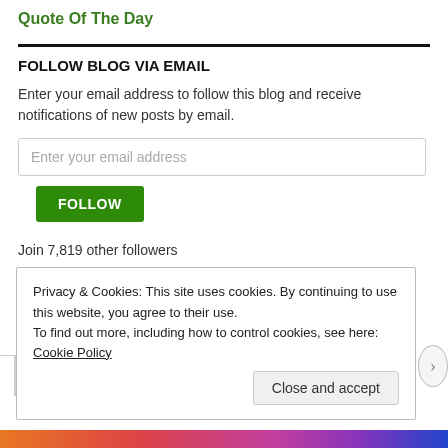Quote Of The Day
FOLLOW BLOG VIA EMAIL
Enter your email address to follow this blog and receive notifications of new posts by email.
Enter your email address
FOLLOW
Join 7,819 other followers
Privacy & Cookies: This site uses cookies. By continuing to use this website, you agree to their use.
To find out more, including how to control cookies, see here: Cookie Policy
Close and accept